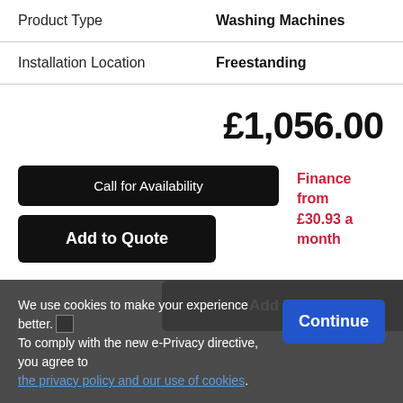| Property | Value |
| --- | --- |
| Product Type | Washing Machines |
| Installation Location | Freestanding |
£1,056.00
Call for Availability
Finance from £30.93 a month
Add to Quote
We use cookies to make your experience better. To comply with the new e-Privacy directive, you agree to the privacy policy and our use of cookies.
Continue
Add To Cart